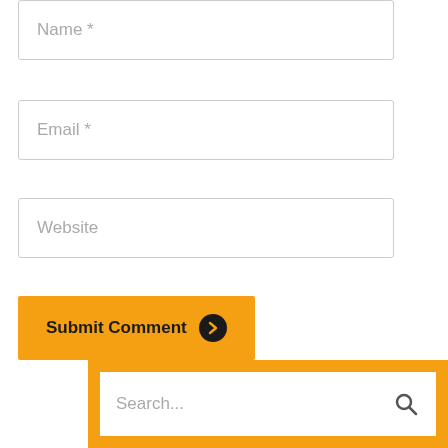Name *
Email *
Website
Submit Comment
Search...